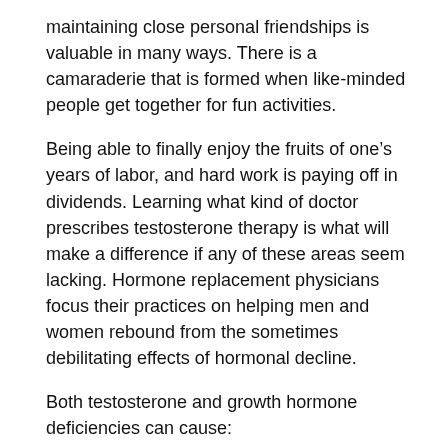maintaining close personal friendships is valuable in many ways. There is a camaraderie that is formed when like-minded people get together for fun activities.
Being able to finally enjoy the fruits of one’s years of labor, and hard work is paying off in dividends. Learning what kind of doctor prescribes testosterone therapy is what will make a difference if any of these areas seem lacking. Hormone replacement physicians focus their practices on helping men and women rebound from the sometimes debilitating effects of hormonal decline.
Both testosterone and growth hormone deficiencies can cause:
mental fog
memory loss
difficulty concentrating on any one thing for long periods of time